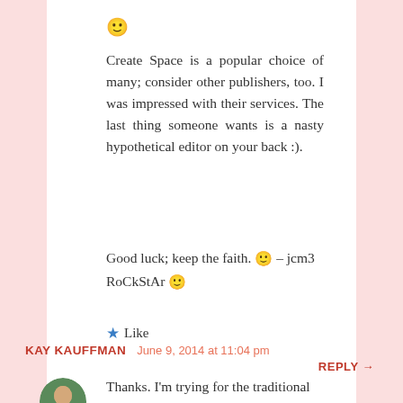🙂
Create Space is a popular choice of many; consider other publishers, too. I was impressed with their services. The last thing someone wants is a nasty hypothetical editor on your back :).
Good luck; keep the faith. 🙂 – jcm3 RoCkStAr 🙂
★ Like
KAY KAUFFMAN   June 9, 2014 at 11:04 pm
REPLY →
[Figure (photo): Small circular avatar photo of a woman outdoors]
Thanks. I'm trying for the traditional publication route,